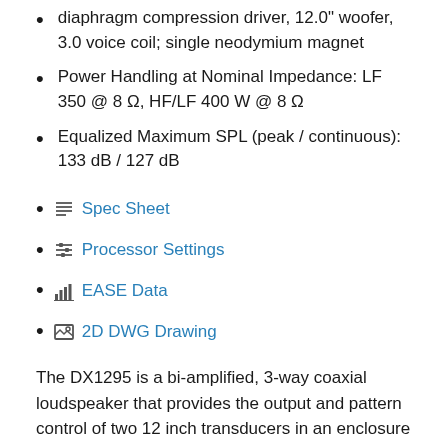diaphragm compression driver, 12.0" woofer, 3.0 voice coil; single neodymium magnet
Power Handling at Nominal Impedance: LF 350 @ 8 Ω, HF/LF 400 W @ 8 Ω
Equalized Maximum SPL (peak / continuous): 133 dB / 127 dB
Spec Sheet
Processor Settings
EASE Data
2D DWG Drawing
The DX1295 is a bi-amplified, 3-way coaxial loudspeaker that provides the output and pattern control of two 12 inch transducers in an enclosure size that would typically house a conventional 2-way system. Its coaxial transducer and 90° x 45° horn can be rotated in 45° increments, which allows its coverage to